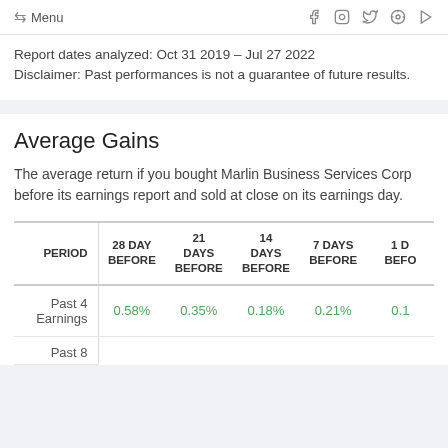← Menu
Report dates analyzed: Oct 31 2019 – Jul 27 2022
Disclaimer: Past performances is not a guarantee of future results.
Average Gains
The average return if you bought Marlin Business Services Corp before its earnings report and sold at close on its earnings day.
| PERIOD | 28 DAY BEFORE | 21 DAYS BEFORE | 14 DAYS BEFORE | 7 DAYS BEFORE | 1 DAY BEFORE |
| --- | --- | --- | --- | --- | --- |
| Past 4 Earnings | 0.58% | 0.35% | 0.18% | 0.21% | 0.1 |
| Past 8 |  |  |  |  |  |